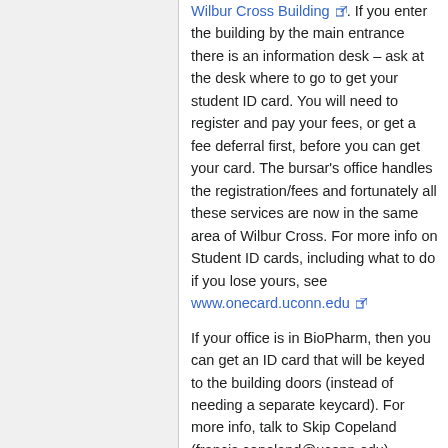Wilbur Cross Building [link]. If you enter the building by the main entrance there is an information desk – ask at the desk where to go to get your student ID card. You will need to register and pay your fees, or get a fee deferral first, before you can get your card. The bursar's office handles the registration/fees and fortunately all these services are now in the same area of Wilbur Cross. For more info on Student ID cards, including what to do if you lose yours, see www.onecard.uconn.edu [link]
If your office is in BioPharm, then you can get an ID card that will be keyed to the building doors (instead of needing a separate keycard). For more info, talk to Skip Copeland (francis.copeland@uconn.edu), whose office is near the loading dock of